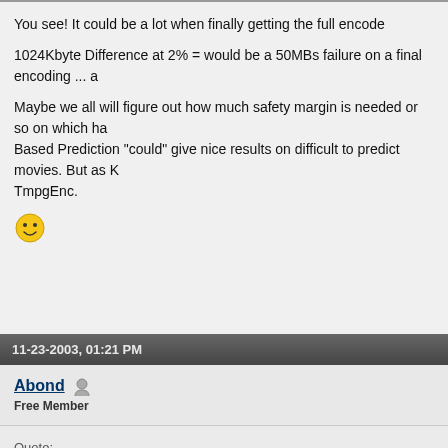You see! It could be a lot when finally getting the full encode
1024Kbyte Difference at 2% = would be a 50MBs failure on a final encoding ... a
Maybe we all will figure out how much safety margin is needed or so on which ha Based Prediction "could" give nice results on difficult to predict movies. But as K TmpgEnc.
[Figure (illustration): Yellow smiley face emoji]
11-23-2003, 01:21 PM
Abond  Free Member
Quote:
13996-12815=1181 and 13467-12291=1176 but this are KB, maybe in byte